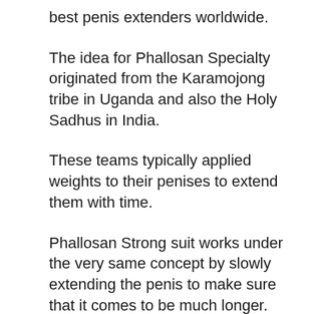best penis extenders worldwide.
The idea for Phallosan Specialty originated from the Karamojong tribe in Uganda and also the Holy Sadhus in India.
These teams typically applied weights to their penises to extend them with time.
Phallosan Strong suit works under the very same concept by slowly extending the penis to make sure that it comes to be much longer.
Instead of using rocks, it makes use of contemporary technology to carefully extend your penis for 6 to 12 hours daily. Phallson Forte also includes an unique vacuum